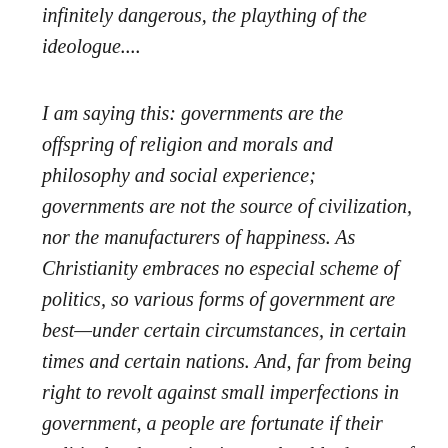infinitely dangerous, the plaything of the ideologue....
I am saying this: governments are the offspring of religion and morals and philosophy and social experience; governments are not the source of civilization, nor the manufacturers of happiness. As Christianity embraces no especial scheme of politics, so various forms of government are best—under certain circumstances, in certain times and certain nations. And, far from being right to revolt against small imperfections in government, a people are fortunate if their political order maintains a tolerable degree of freedom and justice for the different